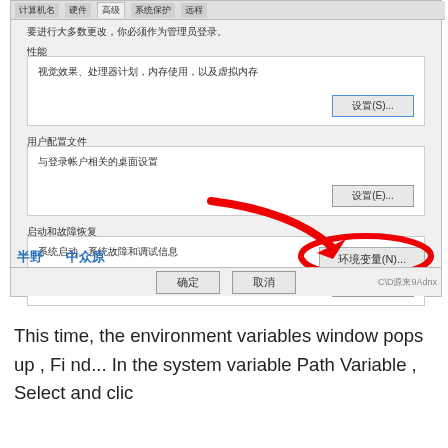[Figure (screenshot): Windows System Properties dialog screenshot in Chinese, showing Performance, User Profiles, and Startup and Recovery sections, with a red arrow annotation pointing to the '环境变量(N)...' (Environment Variables) button, which is circled in red.]
This time, the environment variables window pops up , Find... In the system variable Path Variable , Select and clic